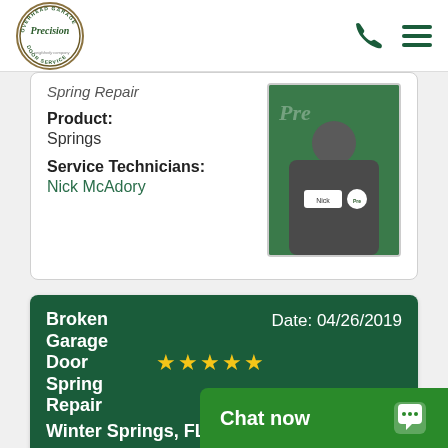Precision Door Service - a neighborly company
Spring Repair
Product: Springs
Service Technicians: Nick McAdory
[Figure (photo): Photo of technician Nick McAdory in a gray uniform shirt with name badge, standing in front of a green Precision Door Service backdrop]
Broken Garage Door Spring Repair
★★★★★
Date: 04/26/2019
Winter Springs, FL
Review:
Outstanding work professionals. I w
Chat now